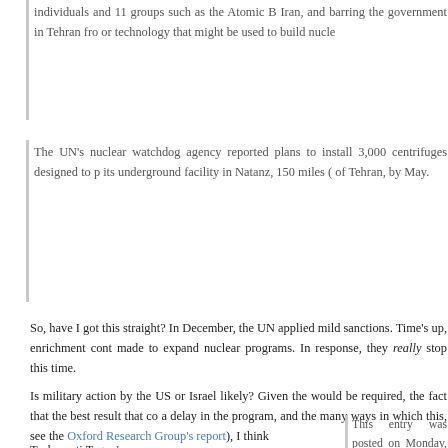individuals and 11 groups such as the Atomic B Iran, and barring the government in Tehran fro or technology that might be used to build nucle
The UN’s nuclear watchdog agency reported plans to install 3,000 centrifuges designed to p its underground facility in Natanz, 150 miles ( of Tehran, by May.
So, have I got this straight? In December, the UN applied mild sanctions. Time’s up, enrichment cont made to expand nuclear programs. In response, they really stop this time.
Is military action by the US or Israel likely? Given the would be required, the fact that the best result that co a delay in the program, and the many ways in which this, see the Oxford Research Group’s report), I think
Technorati Tags: Iran
This entry was posted on Monday, March 5th, 2007 at General. You can follow any responses to this entry thro comments and pings are currently closed.